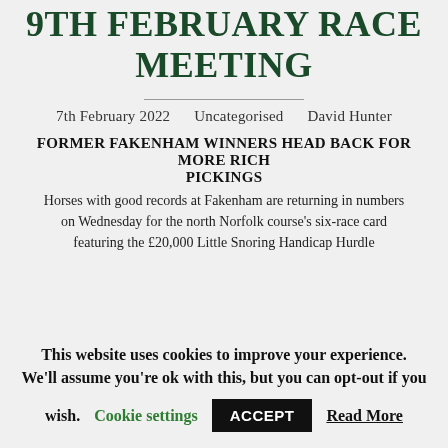9TH FEBRUARY RACE MEETING
7th February 2022   Uncategorised   David Hunter
FORMER FAKENHAM WINNERS HEAD BACK FOR MORE RICH PICKINGS
Horses with good records at Fakenham are returning in numbers on Wednesday for the north Norfolk course's six-race card featuring the £20,000 Little Snoring Handicap Hurdle
This website uses cookies to improve your experience. We'll assume you're ok with this, but you can opt-out if you wish.  Cookie settings  ACCEPT  Read More